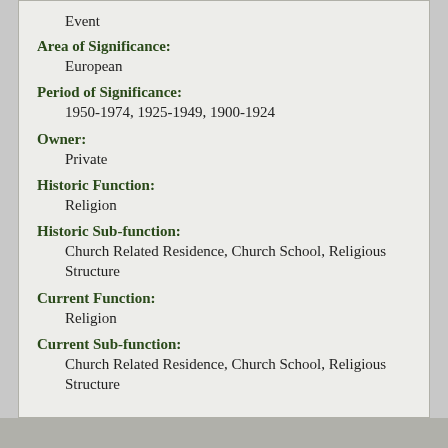Event
Area of Significance:
European
Period of Significance:
1950-1974, 1925-1949, 1900-1924
Owner:
Private
Historic Function:
Religion
Historic Sub-function:
Church Related Residence, Church School, Religious Structure
Current Function:
Religion
Current Sub-function:
Church Related Residence, Church School, Religious Structure